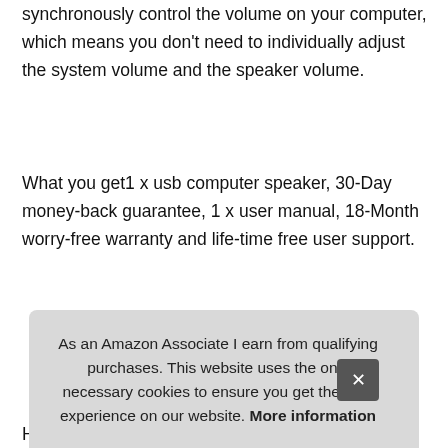synchronously control the volume on your computer, which means you don't need to individually adjust the system volume and the speaker volume.
What you get1 x usb computer speaker, 30-Day money-back guarantee, 1 x user manual, 18-Month worry-free warranty and life-time free user support.
More information #ad
High-quality crystal clear soundusb computer speaker is built-in 5W high-sensitive driver, which is tuned by professional audio engineers, to bring you high-quality crystal clear sound with loud volume and rich bass. Full compatibilitythe usb com... Con...
As an Amazon Associate I earn from qualifying purchases. This website uses the only necessary cookies to ensure you get the best experience on our website. More information